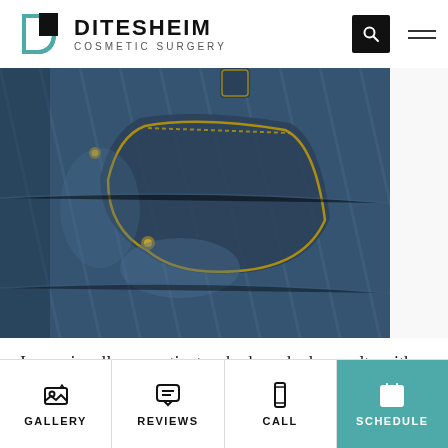[Figure (logo): Ditesheim Cosmetic Surgery logo with teal D icon and black text]
[Figure (photo): Close-up photograph of blue denim jeans pocket with gold stitching]
I occasionally see patients who have had consults with other plastic surgeons, and they say that
[Figure (other): Bottom navigation bar with Gallery, Reviews, Call, and Schedule (teal) buttons]